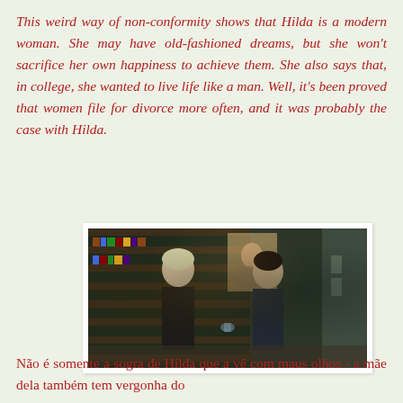This weird way of non-conformity shows that Hilda is a modern woman. She may have old-fashioned dreams, but she won't sacrifice her own happiness to achieve them. She also says that, in college, she wanted to live life like a man. Well, it's been proved that women file for divorce more often, and it was probably the case with Hilda.
[Figure (photo): A film still showing two women in a room with bookshelves; one woman is wearing dark clothing and facing the other.]
Não é somente a sogra de Hilda que a vê com maus olhos - a mãe dela também tem vergonha do